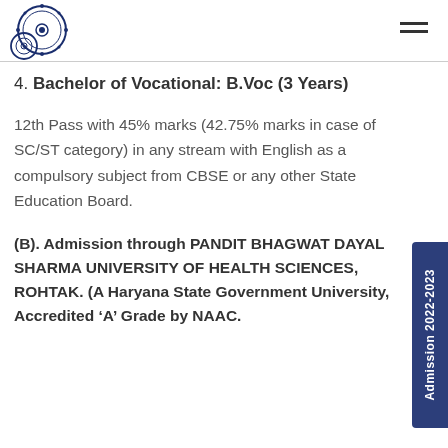College logo and navigation header
4. Bachelor of Vocational: B.Voc (3 Years)
12th Pass with 45% marks (42.75% marks in case of SC/ST category) in any stream with English as a compulsory subject from CBSE or any other State Education Board.
(B). Admission through PANDIT BHAGWAT DAYAL SHARMA UNIVERSITY OF HEALTH SCIENCES, ROHTAK. (A Haryana State Government University, Accredited ‘A’ Grade by NAAC.